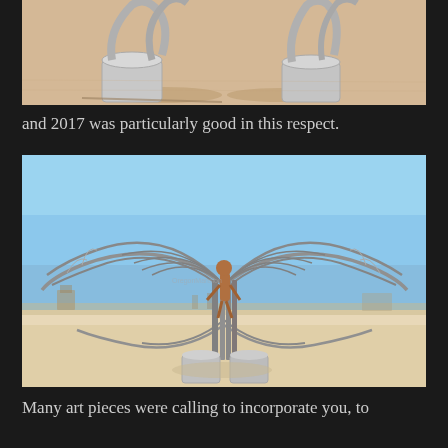[Figure (photo): Partial view of a large metallic sculpture on a sandy desert playa, showing the lower and middle section with cylindrical bases and curving silver metal forms, taken at Burning Man]
and 2017 was particularly good in this respect.
[Figure (photo): A person posing inside a large metallic wing sculpture (resembling Da Vinci-style mechanical wings or a bat/butterfly wing structure) on the white sandy playa at Burning Man, under a clear blue sky, with other attendees and structures visible in the background]
Many art pieces were calling to incorporate you, to